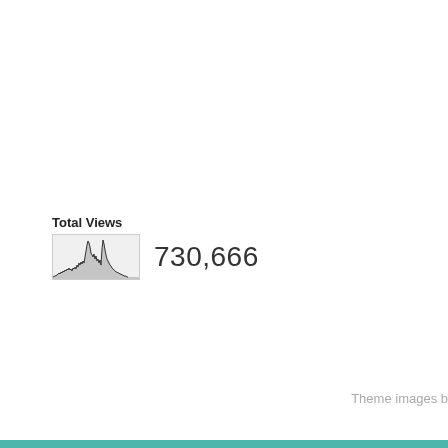Total Views
[Figure (continuous-plot): Small sparkline area chart showing total views over time with irregular peaks, displayed against a light gray background.]
730,666
Theme images b